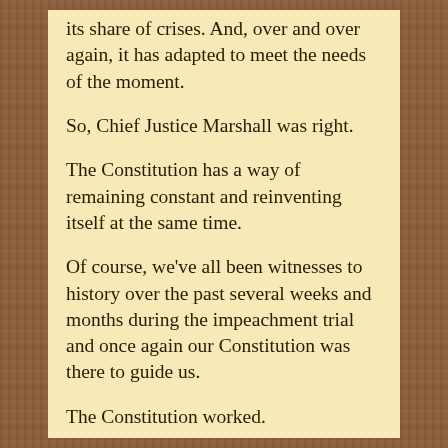its share of crises. And, over and over again, it has adapted to meet the needs of the moment.
So, Chief Justice Marshall was right.
The Constitution has a way of remaining constant and reinventing itself at the same time.
Of course, we've all been witnesses to history over the past several weeks and months during the impeachment trial and once again our Constitution was there to guide us.
The Constitution worked.
In the end, our Constitution remains remarkably resilient. Incredibly, again and again, the Constitution rises to the occasion.
In fact, it seems that a crisis such as this only strengthens the document itself and solidifies our faith in the law. Even though an impeachment trial has only happened